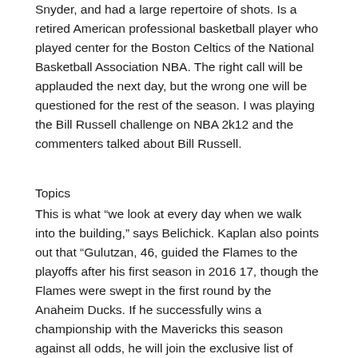Snyder, and had a large repertoire of shots. Is a retired American professional basketball player who played center for the Boston Celtics of the National Basketball Association NBA. The right call will be applauded the next day, but the wrong one will be questioned for the rest of the season. I was playing the Bill Russell challenge on NBA 2k12 and the commenters talked about Bill Russell.
Topics
This is what “we look at every day when we walk into the building,” says Belichick. Kaplan also points out that “Gulutzan, 46, guided the Flames to the playoffs after his first season in 2016 17, though the Flames were swept in the first round by the Anaheim Ducks. If he successfully wins a championship with the Mavericks this season against all odds, he will join the exclusive list of